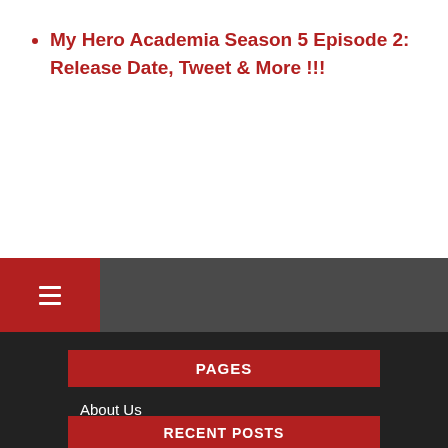My Hero Academia Season 5 Episode 2: Release Date, Tweet & More !!!
PAGES
About Us
Editorial Policy
Home
Privacy Policy
Terms and Conditions
Use of Cookies
RECENT POSTS